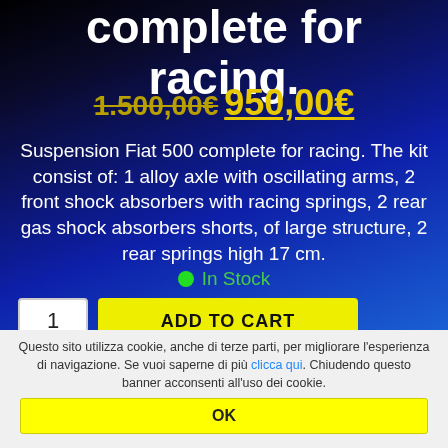complete for racing.
1.500,00€ 950,00€
Suspension Fiat 500 complete for racing. The kit consist of: 1 alloy axle with oscillating arms, 2 front shock absorbers with racing springs, 2 rear gas shock absorbers shorts, of large structure, 2 rear springs high 17 cm.
In Stock
1  ADD TO CART
Questo sito utilizza cookie, anche di terze parti, per migliorare l'esperienza di navigazione. Se vuoi saperne di più clicca qui. Chiudendo questo banner acconsenti all'uso dei cookie.
OK